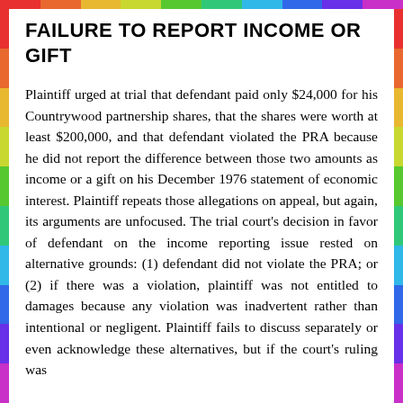FAILURE TO REPORT INCOME OR GIFT
Plaintiff urged at trial that defendant paid only $24,000 for his Countrywood partnership shares, that the shares were worth at least $200,000, and that defendant violated the PRA because he did not report the difference between those two amounts as income or a gift on his December 1976 statement of economic interest. Plaintiff repeats those allegations on appeal, but again, its arguments are unfocused. The trial court's decision in favor of defendant on the income reporting issue rested on alternative grounds: (1) defendant did not violate the PRA; or (2) if there was a violation, plaintiff was not entitled to damages because any violation was inadvertent rather than intentional or negligent. Plaintiff fails to discuss separately or even acknowledge these alternatives, but if the court's ruling was